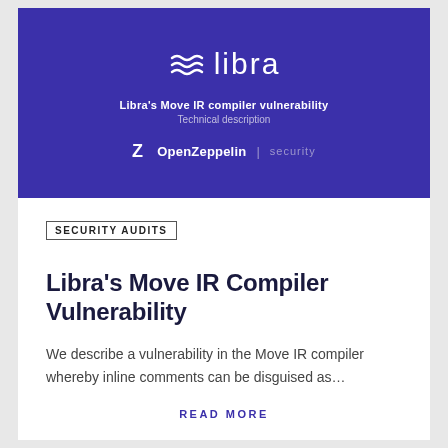[Figure (logo): Libra logo with wavy lines icon and wordmark on dark purple background, with subtitle 'Libra's Move IR compiler vulnerability / Technical description' and OpenZeppelin | security branding below]
SECURITY AUDITS
Libra's Move IR Compiler Vulnerability
We describe a vulnerability in the Move IR compiler whereby inline comments can be disguised as…
READ MORE